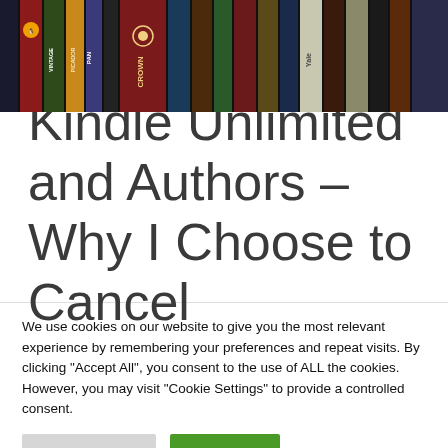[Figure (photo): A row of book spines on a shelf, including publishers such as Crown, Pan, Vintage, Yale, and others, in various colors.]
Kindle Unlimited and Authors – Why I Choose to Cancel
We use cookies on our website to give you the most relevant experience by remembering your preferences and repeat visits. By clicking "Accept All", you consent to the use of ALL the cookies. However, you may visit "Cookie Settings" to provide a controlled consent.